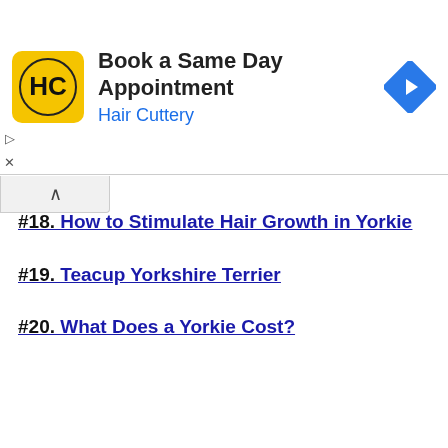[Figure (infographic): Hair Cuttery advertisement banner: yellow rounded square logo with HC text, headline 'Book a Same Day Appointment', subtext 'Hair Cuttery' in blue, and a blue diamond navigation icon on the right. Play and close controls on the left side.]
#18. How to Stimulate Hair Growth in Yorkie
#19. Teacup Yorkshire Terrier
#20. What Does a Yorkie Cost?